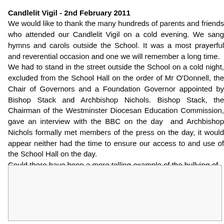Candlelit Vigil - 2nd February 2011
We would like to thank the many hundreds of parents and friends who attended our Candlelit Vigil on a cold evening. We sang hymns and carols outside the School. It was a most prayerful and reverential occasion and one we will remember for a long time.
We had to stand in the street outside the School on a cold night, excluded from the School Hall on the order of Mr O'Donnell, the Chair of Governors and a Foundation Governor appointed by Bishop Stack and Archbishop Nichols. Bishop Stack, the Chairman of the Westminster Diocesan Education Commission, gave an interview with the BBC on the day and Archbishop Nichols formally met members of the press on the day, it would appear neither had the time to ensure our access to and use of the School Hall on the day.
Could there have been a more telling example of the bullying of parents by the Diocese than this?
A short film of the Candlelit Vigil we held outside the School on
[Figure (other): Embedded video box (grey bordered rectangle) — video of the Candlelit Vigil outside the school]